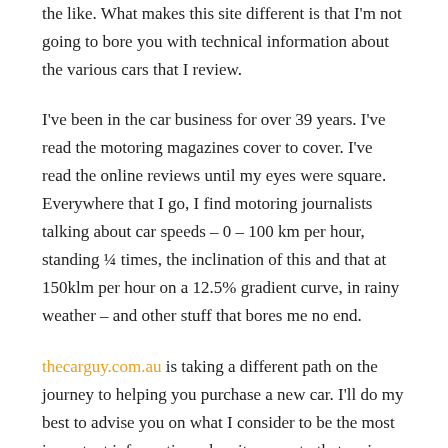the like. What makes this site different is that I'm not going to bore you with technical information about the various cars that I review.
I've been in the car business for over 39 years. I've read the motoring magazines cover to cover. I've read the online reviews until my eyes were square. Everywhere that I go, I find motoring journalists talking about car speeds – 0 – 100 km per hour, standing ¼ times, the inclination of this and that at 150klm per hour on a 12.5% gradient curve, in rainy weather – and other stuff that bores me no end.
thecarguy.com.au is taking a different path on the journey to helping you purchase a new car. I'll do my best to advise you on what I consider to be the most important information when it comes to that major